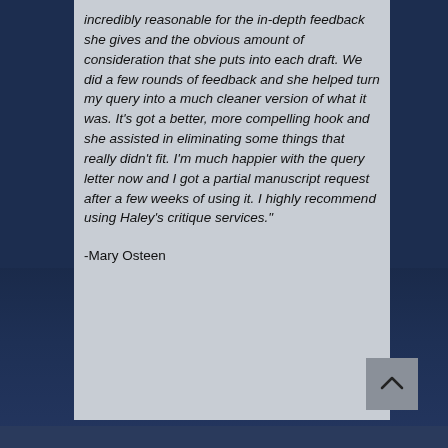incredibly reasonable for the in-depth feedback she gives and the obvious amount of consideration that she puts into each draft. We did a few rounds of feedback and she helped turn my query into a much cleaner version of what it was. It's got a better, more compelling hook and she assisted in eliminating some things that really didn't fit. I'm much happier with the query letter now and I got a partial manuscript request after a few weeks of using it. I highly recommend using Haley's critique services."
-Mary Osteen